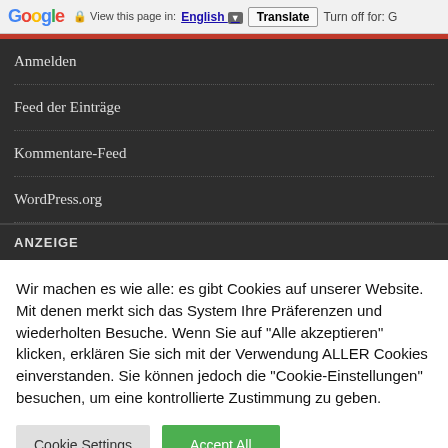Google  View this page in: English [▼]  Translate  Turn off for: G
Anmelden
Feed der Einträge
Kommentare-Feed
WordPress.org
ANZEIGE
Wir machen es wie alle: es gibt Cookies auf unserer Website. Mit denen merkt sich das System Ihre Präferenzen und wiederholten Besuche. Wenn Sie auf "Alle akzeptieren" klicken, erklären Sie sich mit der Verwendung ALLER Cookies einverstanden. Sie können jedoch die "Cookie-Einstellungen" besuchen, um eine kontrollierte Zustimmung zu geben.
Cookie Settings
Accept All